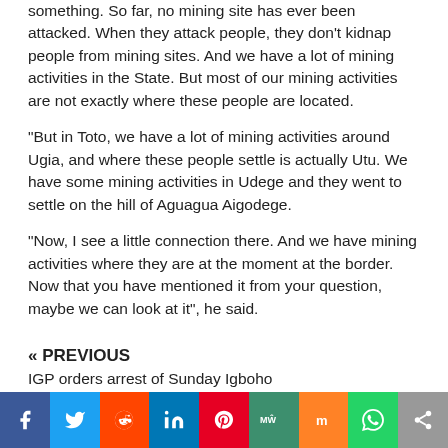something. So far, no mining site has ever been attacked. When they attack people, they don't kidnap people from mining sites. And we have a lot of mining activities in the State. But most of our mining activities are not exactly where these people are located.
“But in Toto, we have a lot of mining activities around Ugia, and where these people settle is actually Utu. We have some mining activities in Udege and they went to settle on the hill of Aguagua Aigodege.
“Now, I see a little connection there. And we have mining activities where they are at the moment at the border. Now that you have mentioned it from your question, maybe we can look at it”, he said.
« PREVIOUS
IGP orders arrest of Sunday Igboho